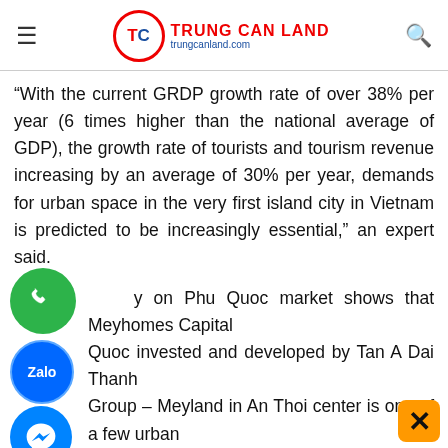TRUNG CAN LAND trungcanland.com
“With the current GRDP growth rate of over 38% per year (6 times higher than the national average of GDP), the growth rate of tourists and tourism revenue increasing by an average of 30% per year, demands for urban space in the very first island city in Vietnam is predicted to be increasingly essential,” an expert said.
Survey on Phu Quoc market shows that Meyhomes Capital Phu Quoc invested and developed by Tan A Dai Thanh Group – Meyland in An Thoi center is one of a few urban areas being introduced to the market. The investors expect that it would be a favorite supplement for the supply for Phu Quoc market which is in shortage.